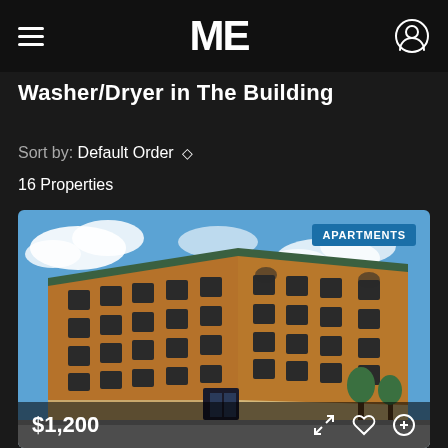ME (logo)
Washer/Dryer in The Building
Sort by: Default Order
16 Properties
[Figure (photo): Exterior photo of a large multi-story red brick apartment building (historic style, 6 floors) against a blue sky with clouds. Badge reads APARTMENTS in upper right. Price overlay of $1,200 at bottom left with action icons at bottom right.]